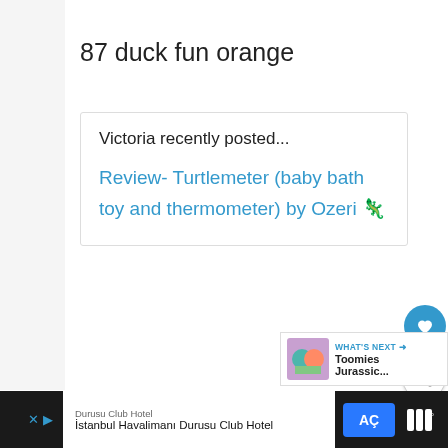87 duck fun orange
Victoria recently posted...
Review- Turtlemeter (baby bath toy and thermometer) by Ozeri 🦅
Reply
[Figure (other): What's Next widget showing Toomies Jurassic... with colorful toy image]
[Figure (other): Advertisement bar: Durusu Club Hotel - Istanbul Havalimani Durusu Club Hotel with AC button]